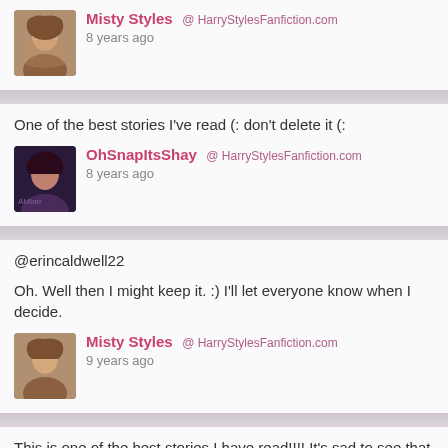Misty Styles @ HarryStylesFanfiction.com
8 years ago
One of the best stories I've read (: don't delete it (:
OhSnapItsShay @ HarryStylesFanfiction.com
8 years ago
@erincaldwell22

Oh. Well then I might keep it. :) I'll let everyone know when I decide.
Misty Styles @ HarryStylesFanfiction.com
9 years ago
This is one of the best stories I have read!!!! It's sad to see that you want to delete it